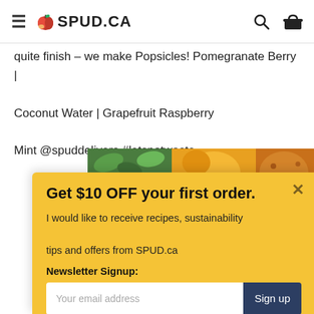SPUD.CA
quite finish – we make Popsicles! Pomegranate Berry | Coconut Water | Grapefruit Raspberry Mint @spuddelivers #letsnotwaste
[Figure (photo): Colorful fruit popsicles image strip]
Get $10 OFF your first order.
I would like to receive recipes, sustainability tips and offers from SPUD.ca
Newsletter Signup:
Your email address  Sign up